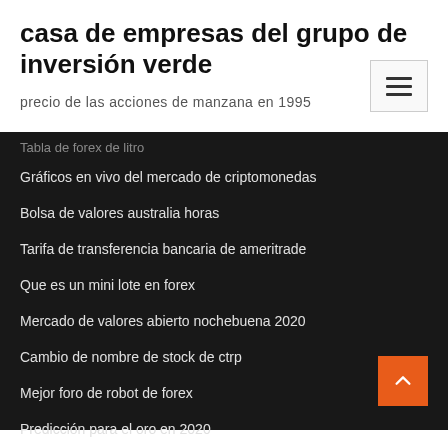casa de empresas del grupo de inversión verde
precio de las acciones de manzana en 1995
Tabla de forex de litro
Gráficos en vivo del mercado de criptomonedas
Bolsa de valores australia horas
Tarifa de transferencia bancaria de ameritrade
Que es un mini lote en forex
Mercado de valores abierto nochebuena 2020
Cambio de nombre de stock de ctrp
Mejor foro de robot de forex
Predicción para el oro en 2020